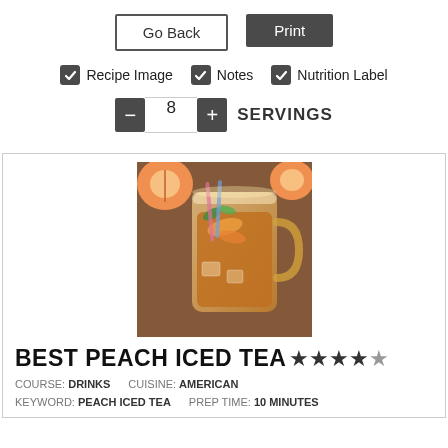Go Back
Print
Recipe Image
Notes
Nutrition Label
8 SERVINGS
[Figure (photo): A mason jar glass pitcher filled with peach iced tea, garnished with peach slices and mint leaves, on a woven mat background with peaches visible behind.]
BEST PEACH ICED TEA ★★★★★
COURSE: DRINKS   CUISINE: AMERICAN
KEYWORD: PEACH ICED TEA   PREP TIME: 10 MINUTES